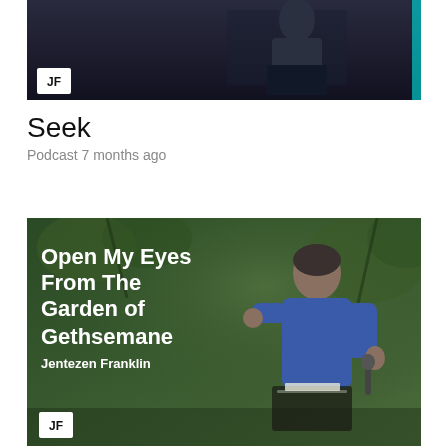[Figure (photo): Dark stage photo of a speaker at a podium with a JF (Jentezen Franklin) logo in the lower left corner]
Seek
Podcast 7 months ago
[Figure (photo): Thumbnail image for sermon 'Open My Eyes From The Garden of Gethsemane' by Jentezen Franklin. Shows a man in a blue sweater speaking outdoors with trees in background. JF logo in lower left corner.]